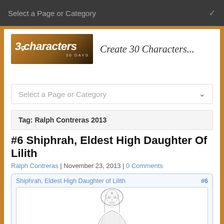Select a Page or Category
[Figure (logo): 30 Characters in 30 Days logo with tagline 'Create 30 Characters...']
Select a Page or Category
Tag: Ralph Contreras 2013
#6 Shiphrah, Eldest High Daughter Of Lilith
Ralph Contreras | November 23, 2013 | 0 Comments
[Figure (illustration): Card showing 'Shiphrah, Eldest High Daughter of Lilith #6' with a sketch of a hooded female character with star marking on forehead]